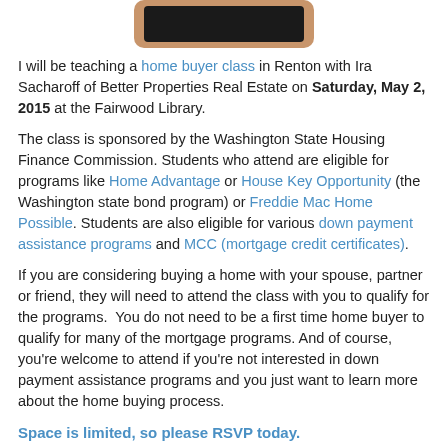[Figure (illustration): A wooden-framed chalkboard/blackboard image at the top of the page]
I will be teaching a home buyer class in Renton with Ira Sacharoff of Better Properties Real Estate on Saturday, May 2, 2015 at the Fairwood Library.
The class is sponsored by the Washington State Housing Finance Commission. Students who attend are eligible for programs like Home Advantage or House Key Opportunity (the Washington state bond program) or Freddie Mac Home Possible. Students are also eligible for various down payment assistance programs and MCC (mortgage credit certificates).
If you are considering buying a home with your spouse, partner or friend, they will need to attend the class with you to qualify for the programs.  You do not need to be a first time home buyer to qualify for many of the mortgage programs. And of course, you’re welcome to attend if you’re not interested in down payment assistance programs and you just want to learn more about the home buying process.
Space is limited, so please RSVP today.